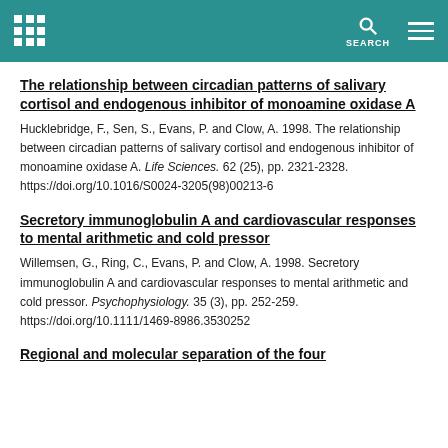SEARCH
The relationship between circadian patterns of salivary cortisol and endogenous inhibitor of monoamine oxidase A
Hucklebridge, F., Sen, S., Evans, P. and Clow, A. 1998. The relationship between circadian patterns of salivary cortisol and endogenous inhibitor of monoamine oxidase A. Life Sciences. 62 (25), pp. 2321-2328. https://doi.org/10.1016/S0024-3205(98)00213-6
Secretory immunoglobulin A and cardiovascular responses to mental arithmetic and cold pressor
Willemsen, G., Ring, C., Evans, P. and Clow, A. 1998. Secretory immunoglobulin A and cardiovascular responses to mental arithmetic and cold pressor. Psychophysiology. 35 (3), pp. 252-259. https://doi.org/10.1111/1469-8986.3530252
Regional and molecular separation of the four